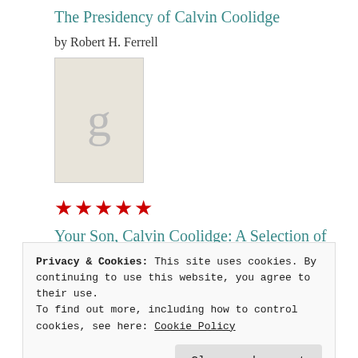The Presidency of Calvin Coolidge
by Robert H. Ferrell
[Figure (illustration): Book cover placeholder with large grey 'g' letter on beige background]
★★★★★
Your Son, Calvin Coolidge: A Selection of Letters from Calvin to His Father
by John Coolidge
[Figure (photo): Book cover for Calvin Coolidge with dark background and partial face image]
Privacy & Cookies: This site uses cookies. By continuing to use this website, you agree to their use.
To find out more, including how to control cookies, see here: Cookie Policy
Close and accept
[Figure (photo): Partial view of another dark book cover at bottom of page]